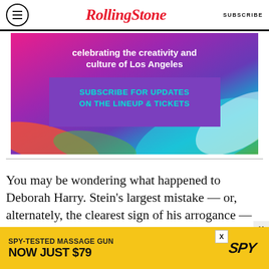Rolling Stone  SUBSCRIBE
[Figure (infographic): Colorful advertisement banner with magenta/purple/teal gradient background. Text reads 'celebrating the creativity and culture of Los Angeles'. Purple box inside reads 'SUBSCRIBE FOR UPDATES ON THE LINEUP & TICKETS'.]
You may be wondering what happened to Deborah Harry. Stein's largest mistake — or, alternately, the clearest sign of his arrogance — is his willingness to shortchange Blondie's biggest asset. It's not just that Harry sounds foolish reciting Autoamerican's bits of narration — the
[Figure (infographic): Yellow advertisement banner. Text reads 'SPY-TESTED MASSAGE GUN' and 'NOW JUST $79' with SPY brand logo in black diagonal text.]